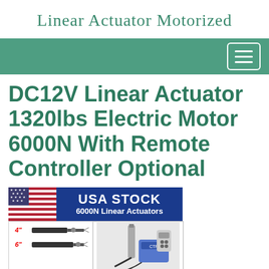Linear Actuator Motorized
DC12V Linear Actuator 1320lbs Electric Motor 6000N With Remote Controller Optional
[Figure (photo): Product listing image showing USA STOCK banner with American flag, text '6000N Linear Actuators', and product photos of linear actuators (4 inch, 6 inch) and a controller unit with remote]